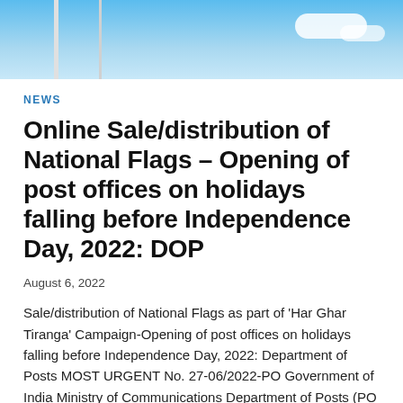[Figure (photo): Blue sky with white clouds and flag poles, banner photograph at top of article]
NEWS
Online Sale/distribution of National Flags – Opening of post offices on holidays falling before Independence Day, 2022: DOP
August 6, 2022
Sale/distribution of National Flags as part of 'Har Ghar Tiranga' Campaign-Opening of post offices on holidays falling before Independence Day, 2022: Department of Posts MOST URGENT No. 27-06/2022-PO Government of India Ministry of Communications Department of Posts (PO Division)